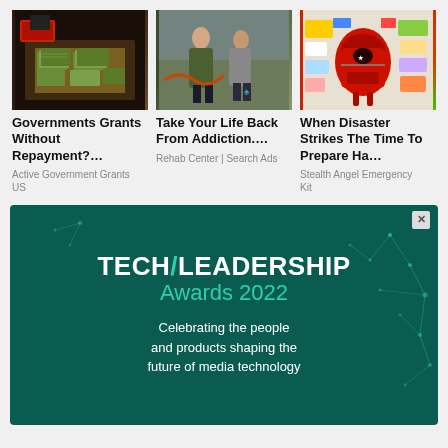[Figure (photo): Photo of money/cash in a box, possibly drug money]
Governments Grants Without Repayment?…
Active Government Grants
US
[Figure (photo): Two women standing against graffiti wall]
Take Your Life Back From Addiction….
Rehab Center | Search Ads
[Figure (photo): Red emergency backpack kit with supplies spread around it]
When Disaster Strikes The Time To Prepare Ha…
Stealth Angel Emergency
Kit
[Figure (screenshot): Tech Leadership Awards 2022 banner ad. Dark teal background with network graph dots. Text: TECH/LEADERSHIP Awards 2022. Celebrating the people and products shaping the future of media technology]